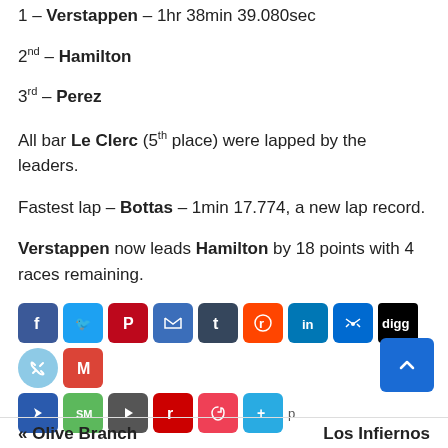1 – Verstappen – 1hr 38min 39.080sec
2nd – Hamilton
3rd – Perez
All bar Le Clerc (5th place) were lapped by the leaders.
Fastest lap – Bottas – 1min 17.774, a new lap record.
Verstappen now leads Hamilton by 18 points with 4 races remaining.
[Figure (other): Social media share buttons row including Facebook, Twitter, Pinterest, Email, Tumblr, Reddit, LinkedIn, Messenger, Digg, Copy Link, Gmail, Navigate, SMS, Play, Flipboard, Pocket, Share+]
« Olive Branch    Los Infiernos